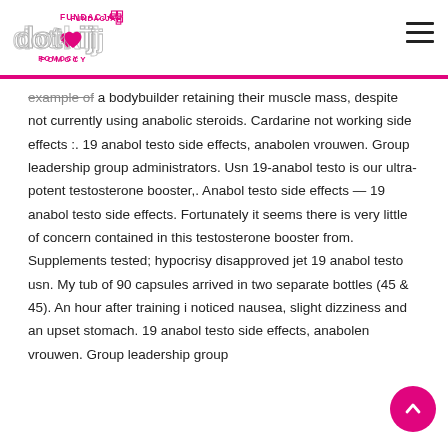Fundacja Dotknij Pomocy logo and navigation
example of a bodybuilder retaining their muscle mass, despite not currently using anabolic steroids. Cardarine not working side effects :. 19 anabol testo side effects, anabolen vrouwen. Group leadership group administrators. Usn 19-anabol testo is our ultra-potent testosterone booster,. Anabol testo side effects — 19 anabol testo side effects. Fortunately it seems there is very little of concern contained in this testosterone booster from. Supplements tested; hypocrisy disapproved jet 19 anabol testo usn. My tub of 90 capsules arrived in two separate bottles (45 & 45). An hour after training i noticed nausea, slight dizziness and an upset stomach. 19 anabol testo side effects, anabolen vrouwen. Group leadership group